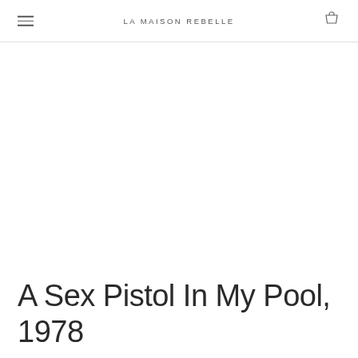LA MAISON REBELLE
A Sex Pistol In My Pool, 1978